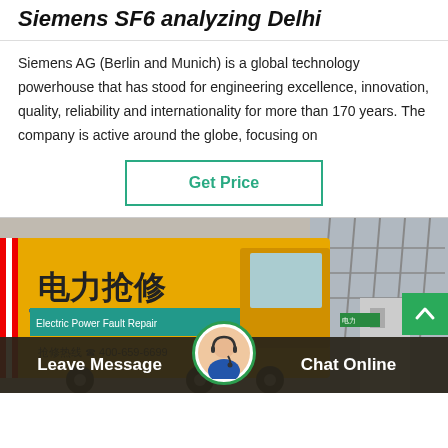Siemens SF6 analyzing Delhi
Siemens AG (Berlin and Munich) is a global technology powerhouse that has stood for engineering excellence, innovation, quality, reliability and internationality for more than 170 years. The company is active around the globe, focusing on
Get Price
[Figure (photo): A yellow Electric Power truck with Chinese text and phone number 400-659-6699, shown in front of a power substation with metal lattice structures]
Leave Message
Chat Online